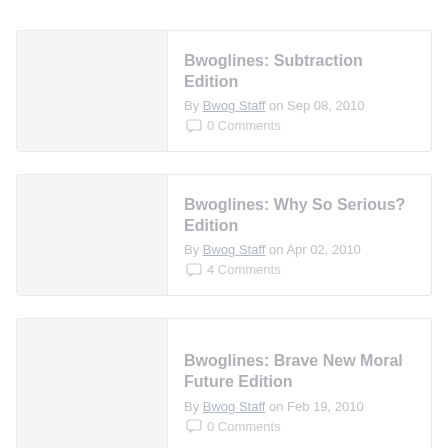Bwoglines: Subtraction Edition
By Bwog Staff on Sep 08, 2010
0 Comments
Bwoglines: Why So Serious? Edition
By Bwog Staff on Apr 02, 2010
4 Comments
Bwoglines: Brave New Moral Future Edition
By Bwog Staff on Feb 19, 2010
0 Comments